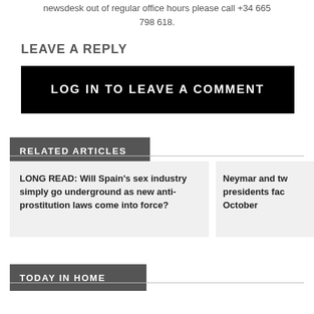newsdesk out of regular office hours please call +34 665 798 618.
LEAVE A REPLY
LOG IN TO LEAVE A COMMENT
RELATED ARTICLES
LONG READ: Will Spain’s sex industry simply go underground as new anti-prostitution laws come into force?
Neymar and two presidents face October
TODAY IN HOME